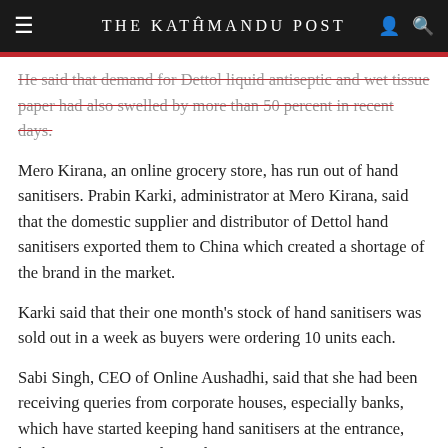THE KATHMANDU POST
He said that demand for Dettol liquid antiseptic and wet tissue paper had also swelled by more than 50 percent in recent days.
Mero Kirana, an online grocery store, has run out of hand sanitisers. Prabin Karki, administrator at Mero Kirana, said that the domestic supplier and distributor of Dettol hand sanitisers exported them to China which created a shortage of the brand in the market.
Karki said that their one month's stock of hand sanitisers was sold out in a week as buyers were ordering 10 units each.
Sabi Singh, CEO of Online Aushadhi, said that she had been receiving queries from corporate houses, especially banks, which have started keeping hand sanitisers at the entrance, leading to a surge in demand.